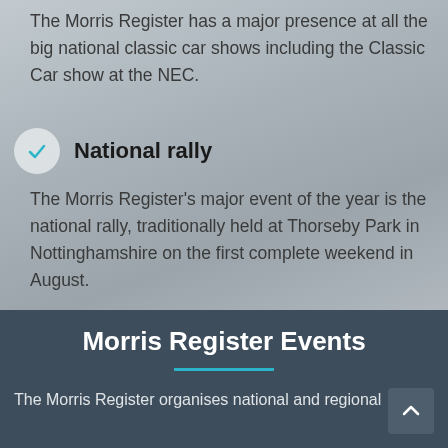The Morris Register has a major presence at all the big national classic car shows including the Classic Car show at the NEC.
National rally
The Morris Register's major event of the year is the national rally, traditionally held at Thorseby Park in Nottinghamshire on the first complete weekend in August.
Morris Register Events
The Morris Register organises national and regional